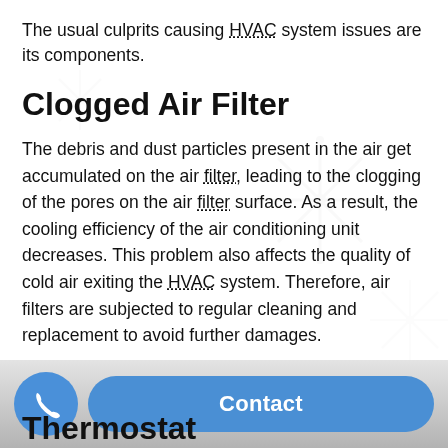The usual culprits causing HVAC system issues are its components.
Clogged Air Filter
The debris and dust particles present in the air get accumulated on the air filter, leading to the clogging of the pores on the air filter surface. As a result, the cooling efficiency of the air conditioning unit decreases. This problem also affects the quality of cold air exiting the HVAC system. Therefore, air filters are subjected to regular cleaning and replacement to avoid further damages.
Thermostat